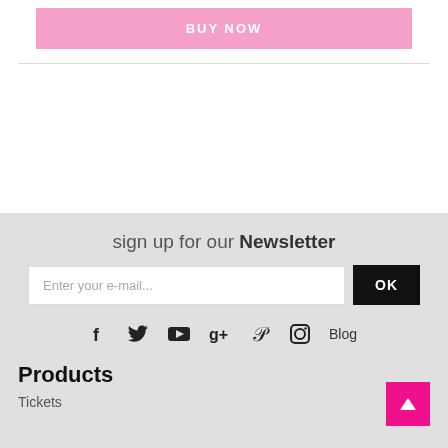BUY NOW
sign up for our Newsletter
Enter your e-mail...
OK
[Figure (infographic): Social media icons row: Facebook (f), Twitter (bird), YouTube (play button), Google+ (g+), Pinterest (p), Instagram (camera), Blog text link]
Products
Tickets